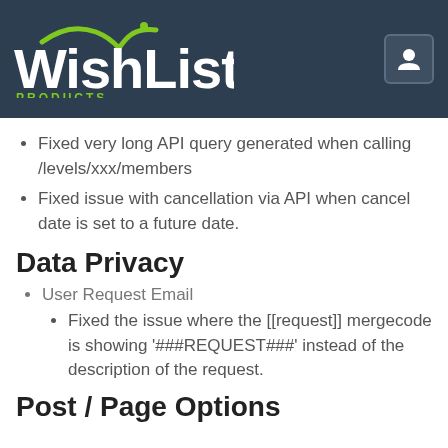WishList PRODUCTS
Fixed very long API query generated when calling /levels/xxx/members
Fixed issue with cancellation via API when cancel date is set to a future date.
Data Privacy
User Request Email
Fixed the issue where the [[request]] mergecode is showing '###REQUEST###' instead of the description of the request.
Post / Page Options